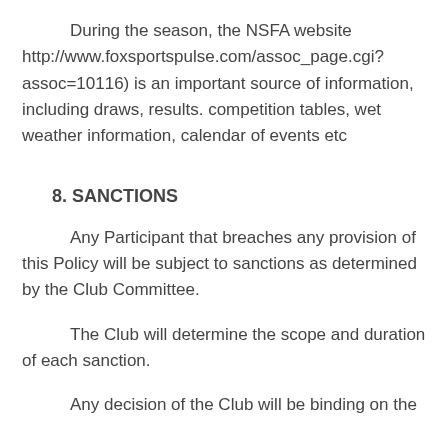During the season, the NSFA website http://www.foxsportspulse.com/assoc_page.cgi?assoc=10116) is an important source of information, including draws, results. competition tables, wet weather information, calendar of events etc
8. SANCTIONS
Any Participant that breaches any provision of this Policy will be subject to sanctions as determined by the Club Committee.
The Club will determine the scope and duration of each sanction.
Any decision of the Club will be binding on the